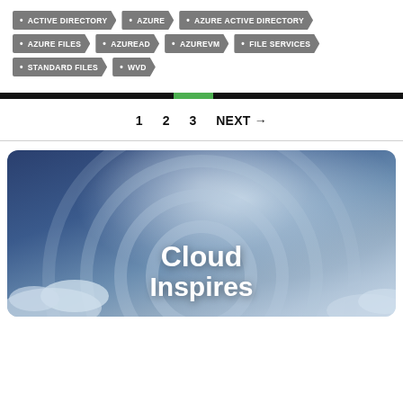ACTIVE DIRECTORY
AZURE
AZURE ACTIVE DIRECTORY
AZURE FILES
AZUREAD
AZUREVM
FILE SERVICES
STANDARD FILES
WVD
1  2  3  NEXT →
[Figure (illustration): Cloud-themed banner image with concentric circular rings on a dark blue sky background with clouds. Bold white text reads 'Cloud' and partially visible 'Inspires' below.]